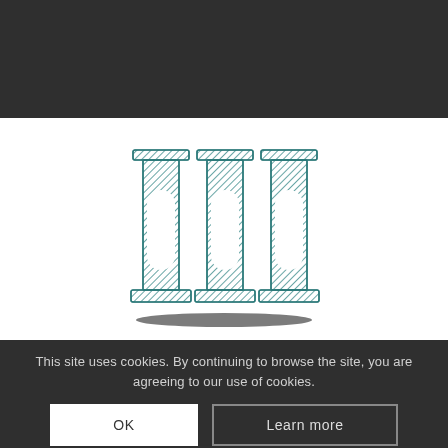[Figure (logo): Teal crosshatched Roman numeral III logo on white background]
This site uses cookies. By continuing to browse the site, you are agreeing to our use of cookies.
OK
Learn more